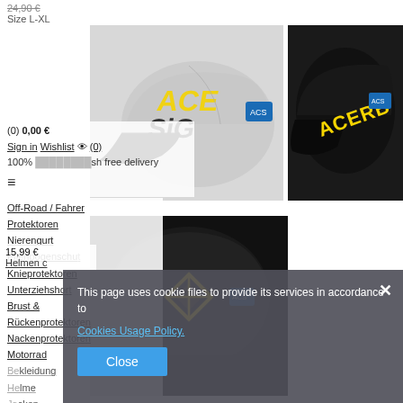24,90 €
Size L-XL
(0) 0,00 €
Sign in Wishlist (0)
100% ... cash free delivery
[Figure (photo): Gray/black baseball cap with yellow graphic on front, seen from side angle]
[Figure (photo): Black baseball cap with yellow ACERBIS logo, seen from side]
[Figure (photo): Black baseball cap with yellow ACERBIS logo, seen from back/side]
Off-Road / Fahrer
Protektoren
Nierengurt
Ellenbogenschutz
Knieprotektoren
Unterziehshort
Brust & Rückenprotektoren
Nackenprotektoren
Motorrad
Bekleidung
Helme
Jacken
Hosen
Jerseys
15,99 €
Helmen c
This page uses cookie files to provide its services in accordance to Cookies Usage Policy.
Close